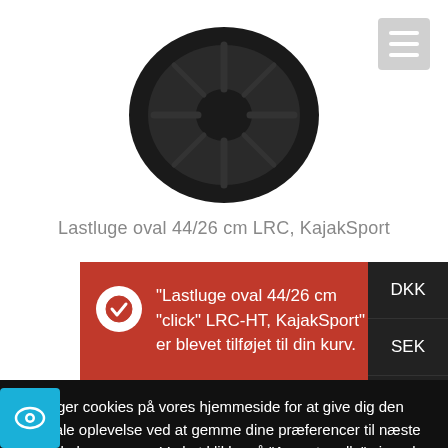[Figure (photo): Black oval kayak hatch/cargo lid (Lastluge oval 44/26 cm) viewed from top, on white background]
Lastluge oval 44/26 cm LRC, KajakSport
“Lastluge oval 44/26 cm “click” LRC-HT, KajakSport” er blevet tilføjet til din kurv.
DKK
SEK
NOK
Vi bruger cookies på vores hjemmeside for at give dig den optimale oplevelse ved at gemme dine præferencer til næste gang du besøger os. Ved at klikke på “Accepter alle” giver du tilladelse til at ALLE cookies benyttes. Du kan også klikke på “Cookie indstillinger” for begrænset tilladelse.
Cookie indstillinger
Accepter alle